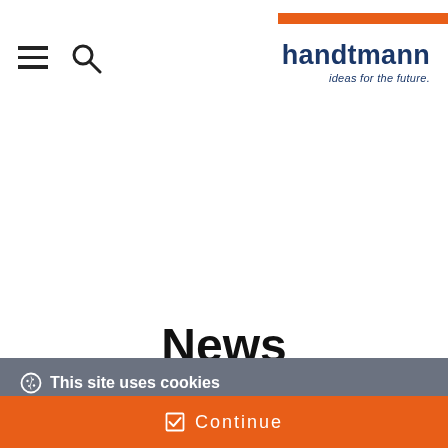handtmann — ideas for the future.
News
This site uses cookies
Our website uses cookies. By continuing we assume your permission to deploy cookies, as detailed in our cookies policy.
✓ Continue